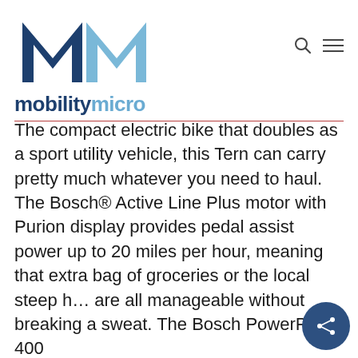[Figure (logo): MM logo with two interlocking M letters — left M in dark navy blue, right M in light blue — above the word 'mobilitymicro' in bold, with 'mobility' in dark navy and 'micro' in light blue]
The compact electric bike that doubles as a sport utility vehicle, this Tern can carry pretty much whatever you need to haul. The Bosch® Active Line Plus motor with Purion display provides pedal assist power up to 20 miles per hour, meaning that extra bag of groceries or the local steep h… are all manageable without breaking a sweat. The Bosch PowerPack 400